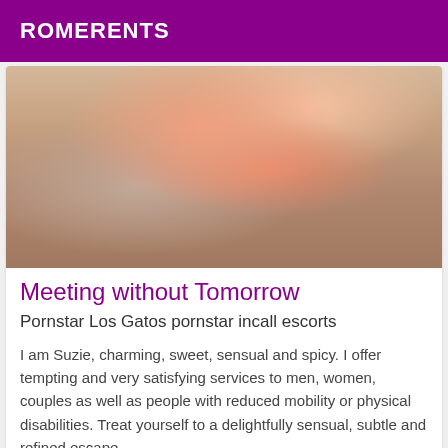ROMERENTS
[Figure (photo): A blonde woman wearing a pink top and jeans, photographed from above at close range.]
Meeting without Tomorrow
Pornstar Los Gatos pornstar incall escorts
I am Suzie, charming, sweet, sensual and spicy. I offer tempting and very satisfying services to men, women, couples as well as people with reduced mobility or physical disabilities. Treat yourself to a delightfully sensual, subtle and refined escape.
[Figure (photo): Partial photo of a person, cropped at bottom of page, with a 'Verified' badge overlay in purple.]